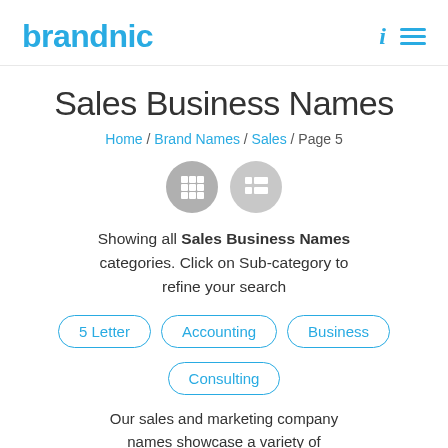brandnic
Sales Business Names
Home / Brand Names / Sales / Page 5
[Figure (infographic): Two circular toggle buttons with grid/list view icons in grey]
Showing all Sales Business Names categories. Click on Sub-category to refine your search
5 Letter
Accounting
Business
Consulting
Our sales and marketing company names showcase a variety of different sales approaches, suitable for any business. Sales company brand names are ideal for online